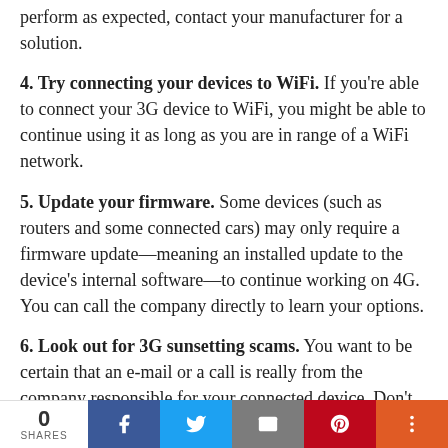perform as expected, contact your manufacturer for a solution.
4. Try connecting your devices to WiFi. If you're able to connect your 3G device to WiFi, you might be able to continue using it as long as you are in range of a WiFi network.
5. Update your firmware. Some devices (such as routers and some connected cars) may only require a firmware update—meaning an installed update to the device's internal software—to continue working on 4G. You can call the company directly to learn your options.
6. Look out for 3G sunsetting scams. You want to be certain that an e-mail or a call is really from the company responsible for your connected device. Don't click any links or give away personal or payment information if someone randomly reaches out to you. Make sure you talk
0 SHARES | Facebook | Twitter | Email | Pinterest | More